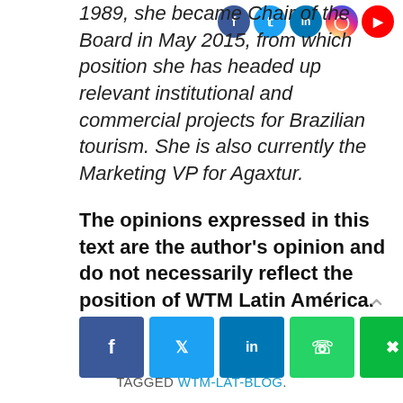1989, she became Chair of the Board in May 2015, from which position she has headed up relevant institutional and commercial projects for Brazilian tourism. She is also currently the Marketing VP for Agaxtur.
The opinions expressed in this text are the author's opinion and do not necessarily reflect the position of WTM Latin América.
[Figure (infographic): Social sharing buttons row: Facebook (blue), Twitter (light blue), LinkedIn (dark blue), WhatsApp (green), WeChat (green), Copy link (grey), More (orange)]
TAGGED WTM-LAT-BLOG.